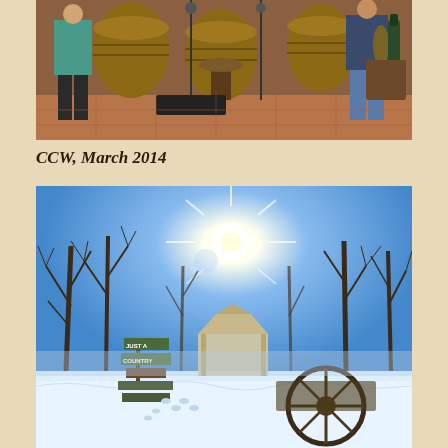[Figure (photo): Indoor winery scene with two people standing among wine barrels, a microphone stand, drum kit, and music equipment on a tiled floor. Green wine bottle visible on right side.]
CCW, March 2014
[Figure (photo): Snowy winter outdoor scene with bare trees, bright sun in blue sky, a gazebo structure, directional signs reading 'JUST A COUNTRY', and an old wagon wheel in the foreground. Snow covers the ground.]